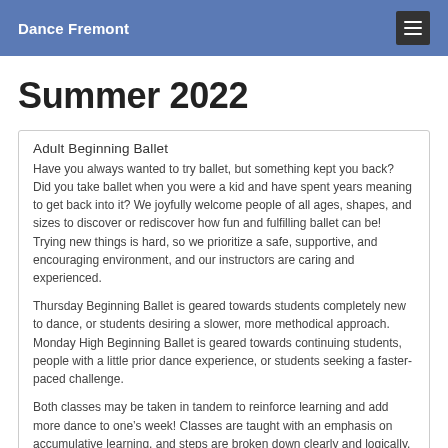Dance Fremont
Summer 2022
Adult Beginning Ballet
Have you always wanted to try ballet, but something kept you back? Did you take ballet when you were a kid and have spent years meaning to get back into it? We joyfully welcome people of all ages, shapes, and sizes to discover or rediscover how fun and fulfilling ballet can be! Trying new things is hard, so we prioritize a safe, supportive, and encouraging environment, and our instructors are caring and experienced.
Thursday Beginning Ballet is geared towards students completely new to dance, or students desiring a slower, more methodical approach. Monday High Beginning Ballet is geared towards continuing students, people with a little prior dance experience, or students seeking a faster-paced challenge.
Both classes may be taken in tandem to reinforce learning and add more dance to one’s week! Classes are taught with an emphasis on accumulative learning, and steps are broken down clearly and logically. Students must